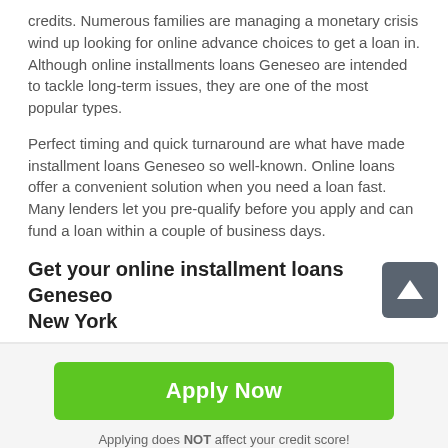credits. Numerous families are managing a monetary crisis wind up looking for online advance choices to get a loan in. Although online installments loans Geneseo are intended to tackle long-term issues, they are one of the most popular types.
Perfect timing and quick turnaround are what have made installment loans Geneseo so well-known. Online loans offer a convenient solution when you need a loan fast. Many lenders let you pre-qualify before you apply and can fund a loan within a couple of business days.
Get your online installment loans Geneseo New York
Apply Now
Applying does NOT affect your credit score! No credit check to apply.